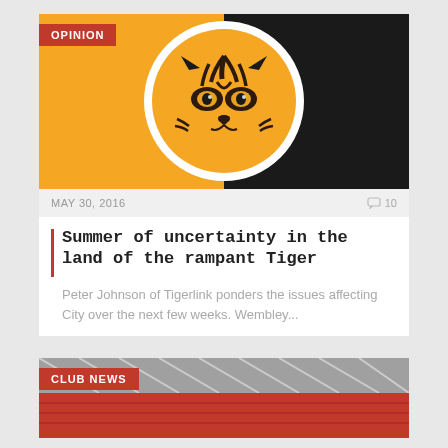[Figure (illustration): Hull City tiger face logo on orange and black circular background with OPINION badge overlay]
MAY 30, 2016
10 comments
Summer of uncertainty in the land of the rampant Tiger
Peter Johnson of Tigerlink ponders the issues affecting City over the next few weeks. Wembley...
[Figure (photo): Stadium interior photo with red seats and roof structure, CLUB NEWS badge overlay]